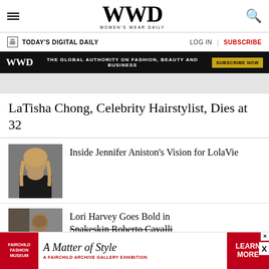WWD Women's Wear Daily
TODAY'S DIGITAL DAILY | LOG IN | SUBSCRIBE
[Figure (screenshot): WWD ad banner: black background with WWD logo, tagline 'THE GLOBAL AUTHORITY ON FASHION, BEAUTY AND BUSINESS', and SUBSCRIBE NOW button]
LaTisha Chong, Celebrity Hairstylist, Dies at 32
[Figure (photo): Photo of Jennifer Aniston]
Inside Jennifer Aniston's Vision for LolaVie
[Figure (photo): Photo of Lori Harvey]
Lori Harvey Goes Bold in Snakeskin Roberto Cavalli
[Figure (screenshot): Fairchild Fashion Museum advertisement: 'A Matter of Style - A Fairchild Archive Gallery Exhibition' with LEARN MORE button]